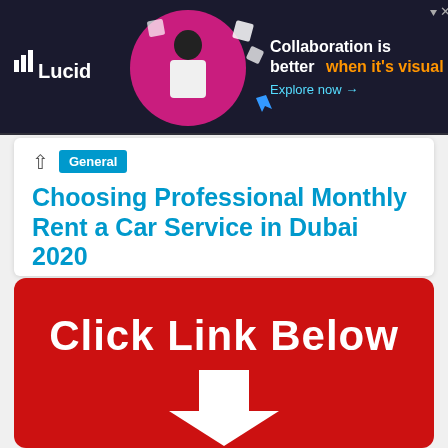[Figure (screenshot): Lucid advertisement banner with person and text: Collaboration is better when it's visual. Explore now →]
General
Choosing Professional Monthly Rent a Car Service in Dubai 2020
- On every occasion, when your rental car is there waiting for you, you don't need to rely on public transport.
[Figure (infographic): Red button graphic with text: Click Link Below, and a white downward-pointing arrow]